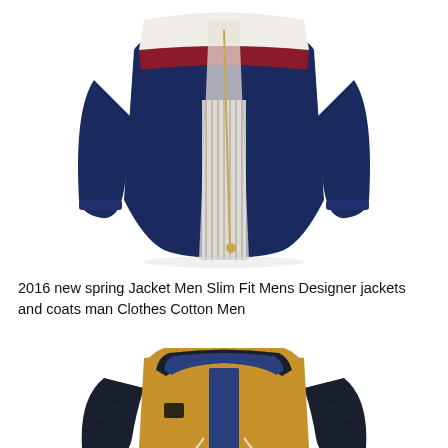[Figure (photo): A navy blue zip-up jacket with white upper chest panel and red horizontal stripe, open zipper showing striped interior lining]
2016 new spring Jacket Men Slim Fit Mens Designer jackets and coats man Clothes Cotton Men
[Figure (photo): A mustard yellow hooded winter jacket with dark navy knit sleeves, blue patterned interior lining visible, white drawstrings, and a small patch badge]